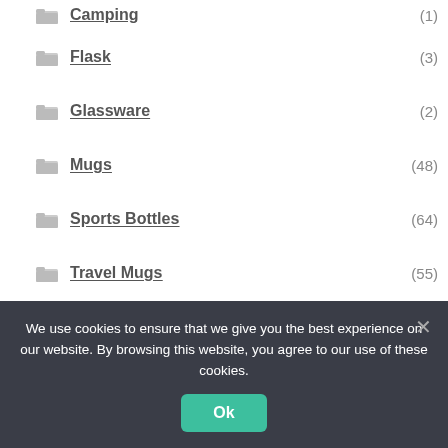Camping (1)
Flask (3)
Glassware (2)
Mugs (48)
Sports Bottles (64)
Travel Mugs (55)
Eco Friendly (23)
Gifts (61)
Giveaways (87)
Health & Wellbeing (25)
We use cookies to ensure that we give you the best experience on our website. By browsing this website, you agree to our use of these cookies.